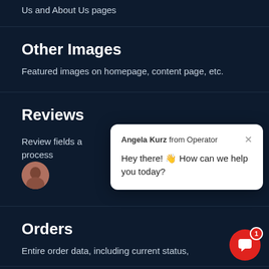Us and About Us pages
Other Images
Featured images on homepage, content page, etc.
Reviews
Review fields and process
[Figure (screenshot): Chat popup from Angela Kurz from Operator saying 'Hey there! 👋 How can we help you today?']
Orders
Entire order data, including current status,